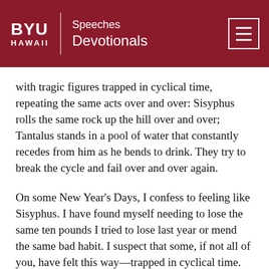BYU HAWAII | Speeches | Devotionals
with tragic figures trapped in cyclical time, repeating the same acts over and over: Sisyphus rolls the same rock up the hill over and over; Tantalus stands in a pool of water that constantly recedes from him as he bends to drink. They try to break the cycle and fail over and over again.
On some New Year’s Days, I confess to feeling like Sisyphus. I have found myself needing to lose the same ten pounds I tried to lose last year or mend the same bad habit. I suspect that some, if not all of you, have felt this way—trapped in cyclical time.
But the gospel gives us hope that time can truly begin again, that permanent change is possible for you and for